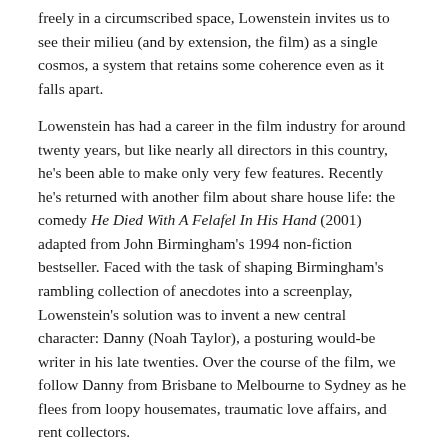freely in a circumscribed space, Lowenstein invites us to see their milieu (and by extension, the film) as a single cosmos, a system that retains some coherence even as it falls apart.
Lowenstein has had a career in the film industry for around twenty years, but like nearly all directors in this country, he's been able to make only very few features. Recently he's returned with another film about share house life: the comedy He Died With A Felafel In His Hand (2001) adapted from John Birmingham's 1994 non-fiction bestseller. Faced with the task of shaping Birmingham's rambling collection of anecdotes into a screenplay, Lowenstein's solution was to invent a new central character: Danny (Noah Taylor), a posturing would-be writer in his late twenties. Over the course of the film, we follow Danny from Brisbane to Melbourne to Sydney as he flees from loopy housemates, traumatic love affairs, and rent collectors.
As in Dogs In Space, the backdrop for this film is almost exclusively domestic. Everything happens in and around the three houses Danny successively inhabits, which serve as economical ways of evoking their respective, otherwise